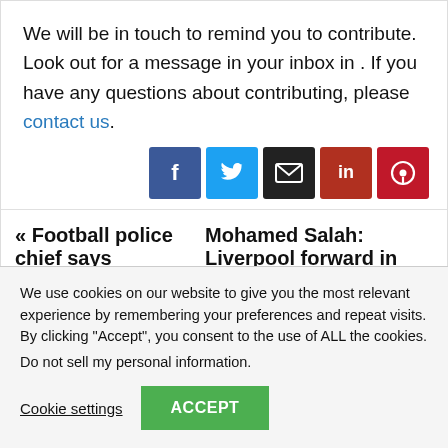We will be in touch to remind you to contribute. Look out for a message in your inbox in . If you have any questions about contributing, please contact us.
[Figure (other): Row of social share buttons: Facebook (blue), Twitter (light blue), Email (black), LinkedIn (dark red), Pinterest (red)]
« Football police chief says   Mohamed Salah: Liverpool forward in
We use cookies on our website to give you the most relevant experience by remembering your preferences and repeat visits. By clicking "Accept", you consent to the use of ALL the cookies.
Do not sell my personal information.
Cookie settings   ACCEPT